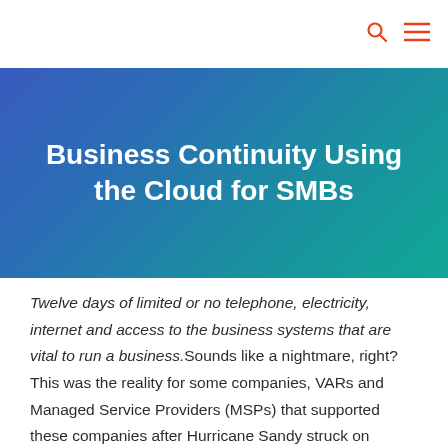Business Continuity Using the Cloud for SMBs
Twelve days of limited or no telephone, electricity, internet and access to the business systems that are vital to run a business.Sounds like a nightmare, right? This was the reality for some companies, VARs and Managed Service Providers (MSPs) that supported these companies after Hurricane Sandy struck on October 29, 2012. For